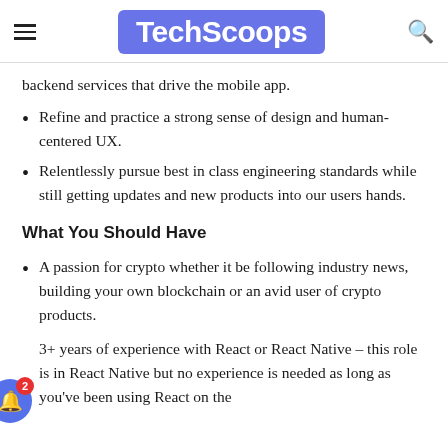TechScoops
backend services that drive the mobile app.
Refine and practice a strong sense of design and human-centered UX.
Relentlessly pursue best in class engineering standards while still getting updates and new products into our users hands.
What You Should Have
A passion for crypto whether it be following industry news, building your own blockchain or an avid user of crypto products.
3+ years of experience with React or React Native – this role is in React Native but no experience is needed as long as you've been using React on the